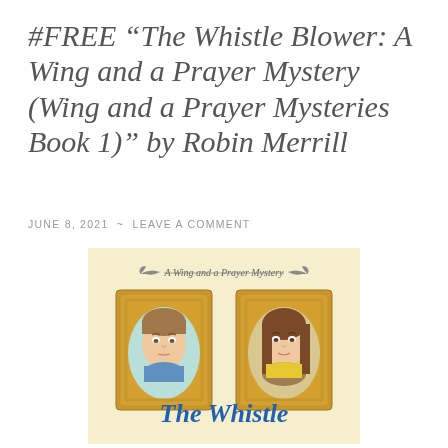#FREE "The Whistle Blower: A Wing and a Prayer Mystery (Wing and a Prayer Mysteries Book 1)" by Robin Merrill
JUNE 8, 2021 ~ LEAVE A COMMENT
[Figure (illustration): Book cover of 'The Whistle Blower: A Wing and a Prayer Mystery' showing two cartoon portrait illustrations in golden frames on a yellow background — a man with brown hair on the left and a woman with long brown hair on the right — with the text 'A Wing and a Prayer Mystery' at the top and 'The Whistle' at the bottom in blue script lettering.]